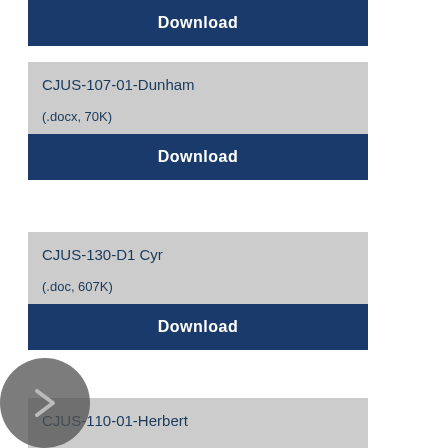Download
CJUS-107-01-Dunham
(.docx, 70K)
Download
CJUS-130-D1 Cyr
(.doc, 607K)
Download
CJUS-110-01-Herbert
(.docx, 67K)